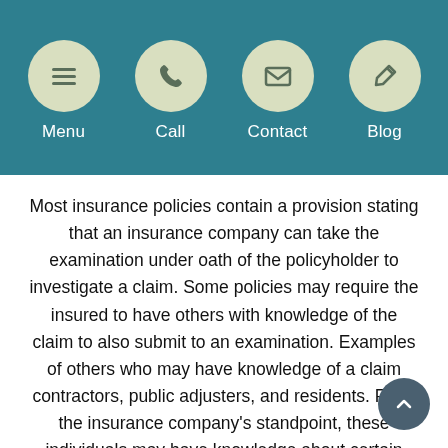[Figure (other): Navigation bar with four circular icon buttons: Menu (hamburger icon), Call (phone icon), Contact (envelope icon), Blog (pencil icon), on a teal background.]
Most insurance policies contain a provision stating that an insurance company can take the examination under oath of the policyholder to investigate a claim. Some policies may require the insured to have others with knowledge of the claim to also submit to an examination. Examples of others who may have knowledge of a claim contractors, public adjusters, and residents. From the insurance company's standpoint, these individuals may have knowledge about certain aspects of the claim. However, the policyholder ultimately can't force someone else to sit for an examination and many insurance companies use this as a tactic to